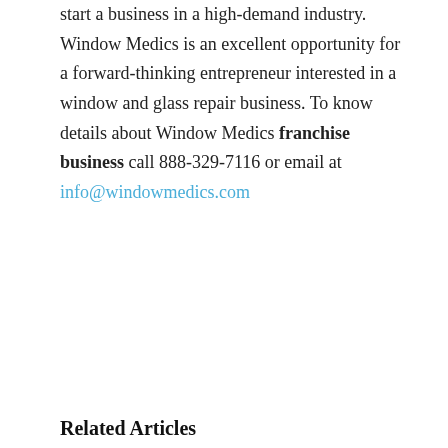start a business in a high-demand industry. Window Medics is an excellent opportunity for a forward-thinking entrepreneur interested in a window and glass repair business. To know details about Window Medics franchise business call 888-329-7116 or email at info@windowmedics.com
Related Articles